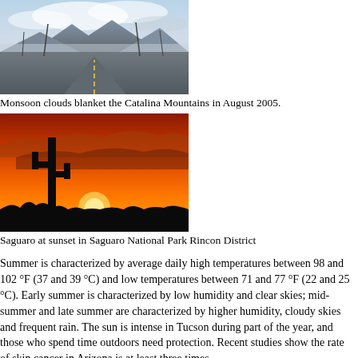[Figure (photo): Monsoon clouds blanketing a road with mountains in the background, August 2005]
Monsoon clouds blanket the Catalina Mountains in August 2005.
[Figure (photo): Saguaro cactus silhouette at sunset with orange-red sky in Saguaro National Park Rincon District]
Saguaro at sunset in Saguaro National Park Rincon District
Summer is characterized by average daily high temperatures between 98 and 102 °F (37 and 39 °C) and low temperatures between 71 and 77 °F (22 and 25 °C). Early summer is characterized by low humidity and clear skies; mid-summer and late summer are characterized by higher humidity, cloudy skies and frequent rain. The sun is intense in Tucson during part of the year, and those who spend time outdoors need protection. Recent studies show the rate of skin cancer in Arizona is at least three times